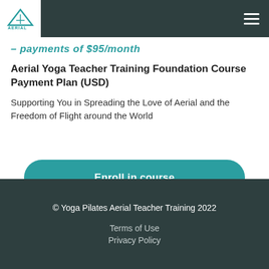Aerial Yoga Teacher Training [logo] [menu]
– payments of $95/month
Aerial Yoga Teacher Training Foundation Course Payment Plan (USD)
Supporting You in Spreading the Love of Aerial and the Freedom of Flight around the World
Enroll in course
© Yoga Pilates Aerial Teacher Training 2022
Terms of Use
Privacy Policy